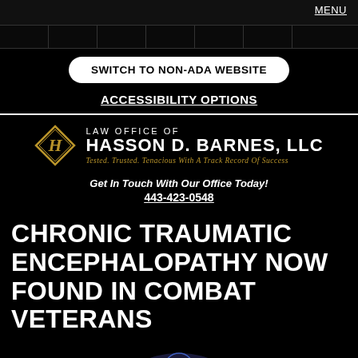MENU
SWITCH TO NON-ADA WEBSITE
ACCESSIBILITY OPTIONS
[Figure (logo): Law Office of Hasson D. Barnes, LLC logo with diamond H emblem. Text reads: LAW OFFICE OF HASSON D. BARNES, LLC. Tagline: Tested. Trusted. Tenacious With A Track Record Of Success]
Get In Touch With Our Office Today!
443-423-0548
CHRONIC TRAUMATIC ENCEPHALOPATHY NOW FOUND IN COMBAT VETERANS
[Figure (illustration): Partial image of a human brain illustration at the bottom of the page]